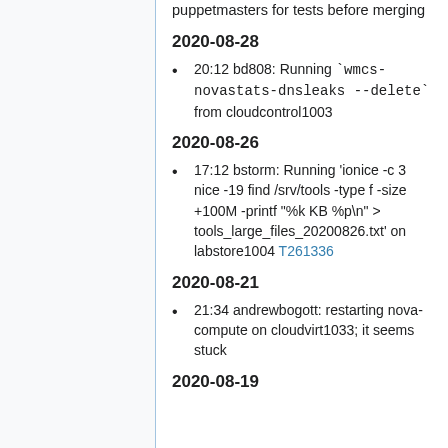puppetmasters for tests before merging
2020-08-28
20:12 bd808: Running `wmcs-novastats-dnsleaks --delete` from cloudcontrol1003
2020-08-26
17:12 bstorm: Running 'ionice -c 3 nice -19 find /srv/tools -type f -size +100M -printf "%k KB %p\n" > tools_large_files_20200826.txt' on labstore1004 T261336
2020-08-21
21:34 andrewbogott: restarting nova-compute on cloudvirt1033; it seems stuck
2020-08-19